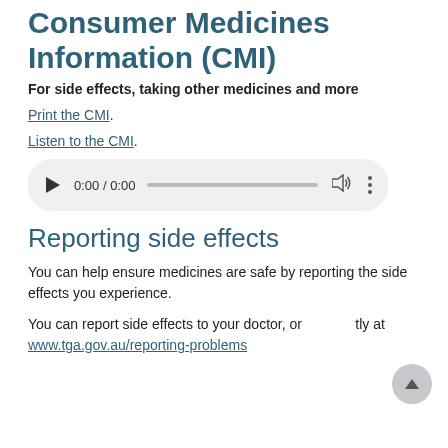Consumer Medicines Information (CMI)
For side effects, taking other medicines and more
Print the CMI.
Listen to the CMI.
[Figure (other): Audio player widget showing 0:00 / 0:00 with play button, progress bar, volume and more icons]
Reporting side effects
You can help ensure medicines are safe by reporting the side effects you experience.
You can report side effects to your doctor, or directly at www.tga.gov.au/reporting-problems